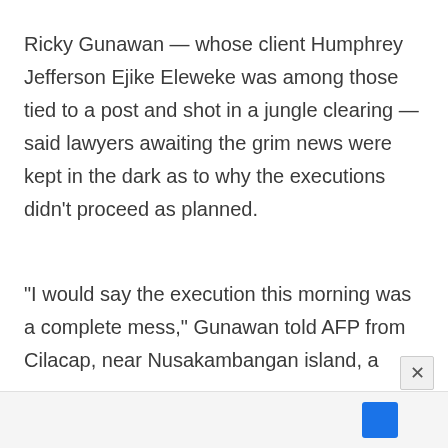Ricky Gunawan — whose client Humphrey Jefferson Ejike Eleweke was among those tied to a post and shot in a jungle clearing — said lawyers awaiting the grim news were kept in the dark as to why the executions didn't proceed as planned.
“I would say the execution this morning was a complete mess,” Gunawan told AFP from Cilacap, near Nusakambangan island, a